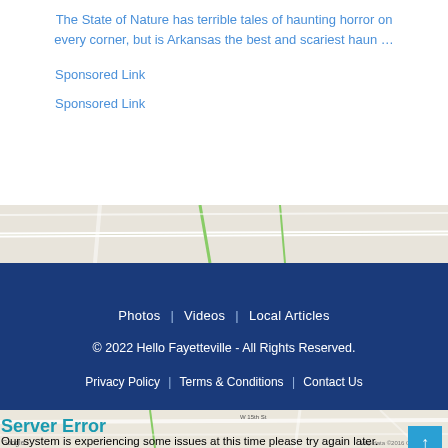The State of Nature has terrible tales of haunting horror on every corner, but is Arkansas the best and scariest haun …
Sponsored Link
Sponsored Link
[Figure (map): Partial street map strip (beige/tan background with road lines)]
Photos | Videos | Local Articles
© 2022 Hello Fayetteville - All Rights Reserved.
Privacy Policy | Terms & Conditions | Contact Us
[Figure (map): Street map of Fayetteville area, beige background with road lines, Google watermark]
Server Error
Our system is experiencing some issues at this time. Please try again later.